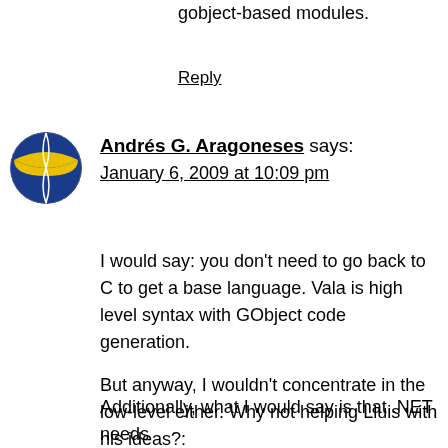gobject-based modules.
Reply
[Figure (photo): Volleyball avatar icon — blue and yellow volleyball ball]
Andrés G. Aragoneses says:
January 6, 2009 at 10:09 pm
I would say: you don't need to go back to C to get a base language. Vala is high level syntax with GObject code generation.

But anyway, I wouldn't concentrate in the low-level either. Why not helping Lluis with his ideas?: http://foodformonkeys.blogspot.com/2007/06/mono-gems.html

Additionally, what I would say is that .NET needs